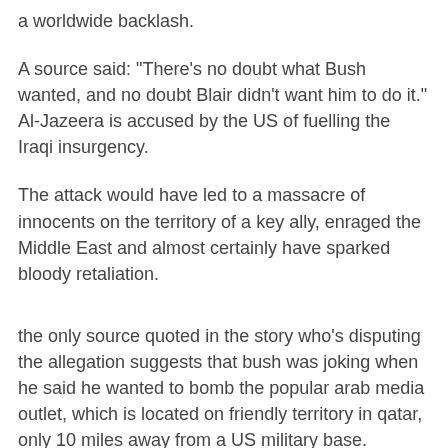a worldwide backlash.
A source said: "There's no doubt what Bush wanted, and no doubt Blair didn't want him to do it." Al-Jazeera is accused by the US of fuelling the Iraqi insurgency.
The attack would have led to a massacre of innocents on the territory of a key ally, enraged the Middle East and almost certainly have sparked bloody retaliation.
the only source quoted in the story who's disputing the allegation suggests that bush was joking when he said he wanted to bomb the popular arab media outlet, which is located on friendly territory in qatar, only 10 miles away from a US military base.
the top secret memo has not been publicly released. if it is, i wonder whether it will get the same treatment that the "downing street memos" got here in the states—the